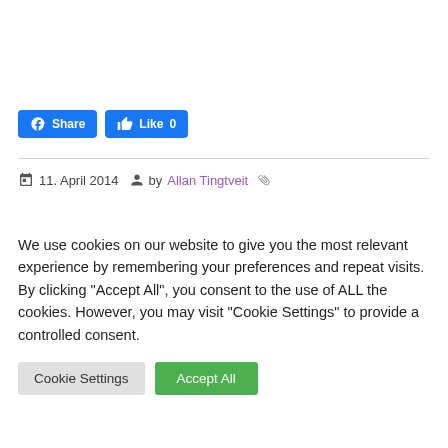[Figure (screenshot): Facebook Share and Like 0 buttons]
11. April 2014  by Allan Tingtveit
We use cookies on our website to give you the most relevant experience by remembering your preferences and repeat visits. By clicking “Accept All”, you consent to the use of ALL the cookies. However, you may visit "Cookie Settings" to provide a controlled consent.
Cookie Settings   Accept All